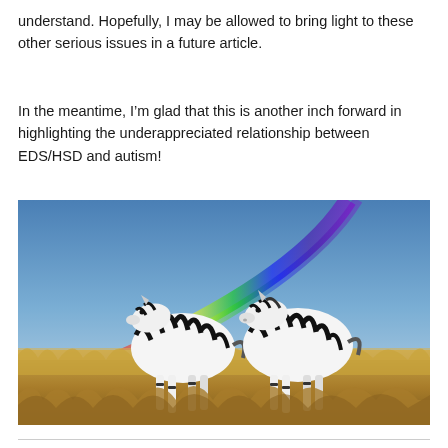understand. Hopefully, I may be allowed to bring light to these other serious issues in a future article.
In the meantime, I’m glad that this is another inch forward in highlighting the underappreciated relationship between EDS/HSD and autism!
[Figure (photo): Two zebras standing in golden grassland under a blue sky with a vivid rainbow arcing from upper right to lower left behind them.]